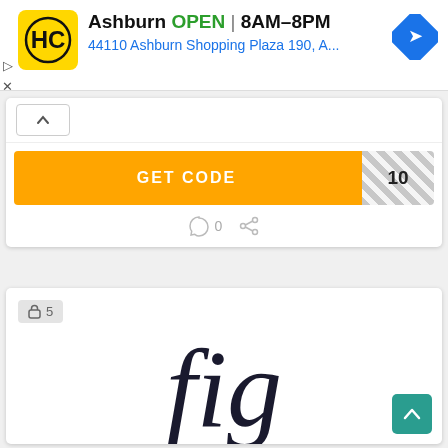[Figure (screenshot): Ad banner for HC store in Ashburn showing logo, OPEN status, hours 8AM-8PM, address 44110 Ashburn Shopping Plaza 190, A... and navigation icon]
[Figure (screenshot): GET CODE button in orange with hatched code reveal area showing '10']
[Figure (screenshot): Comment and share action row with 0 comments]
[Figure (screenshot): Card with lock badge showing 5 locked items and 'fig' calligraphy logo]